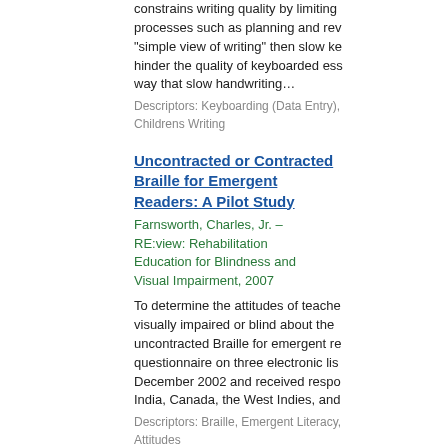constrains writing quality by limiting processes such as planning and revision. If the "simple view of writing" then slow keyboarding may hinder the quality of keyboarded essays in the same way that slow handwriting…
Descriptors: Keyboarding (Data Entry), Childrens Writing
Uncontracted or Contracted Braille for Emergent Readers: A Pilot Study
Farnsworth, Charles, Jr. – RE:view: Rehabilitation Education for Blindness and Visual Impairment, 2007
To determine the attitudes of teachers of the visually impaired or blind about the use of uncontracted Braille for emergent readers, a questionnaire on three electronic lists in December 2002 and received responses from India, Canada, the West Indies, and…
Descriptors: Braille, Emergent Literacy, Attitudes
What Hands May Tell Us abo…